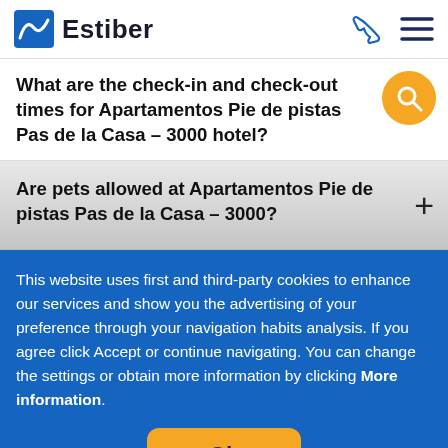Estiber
What are the check-in and check-out times for Apartamentos Pie de pistas Pas de la Casa - 3000 hotel?
Are pets allowed at Apartamentos Pie de pistas Pas de la Casa - 3000?
This website uses first and third-party cookies to enhance our services and show you the advertising of your preference through your navigation habits analysis. If you agree click Accept or continue navigating. You can change the settings or obtain more information by clicking More information.
Ok